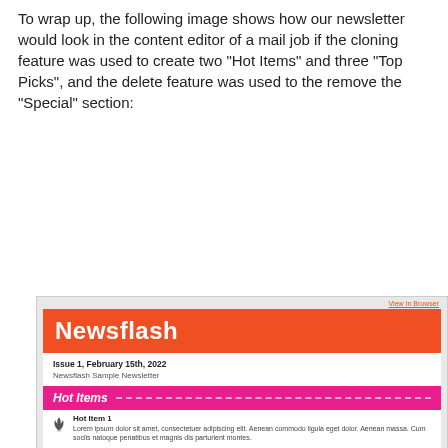To wrap up, the following image shows how our newsletter would look in the content editor of a mail job if the cloning feature was used to create two "Hot Items" and three "Top Picks", and the delete feature was used to the remove the "Special" section:
[Figure (screenshot): Screenshot of a newsletter email template called 'Newsflash' showing: a View in Browser link, an orange header with 'Newsflash' title, an issue info box with 'Issue 1, February 15th, 2022' and 'Newsflash Sample Newsletter', a pink 'Hot Items' section with two items (Hot Item 1, Hot Item 2) each with a flame icon and Lorem ipsum text, and a blue 'Top Picks' section with Top Pick 1 and Top Pick 3 visible in two columns with pin icons and Lorem ipsum text.]